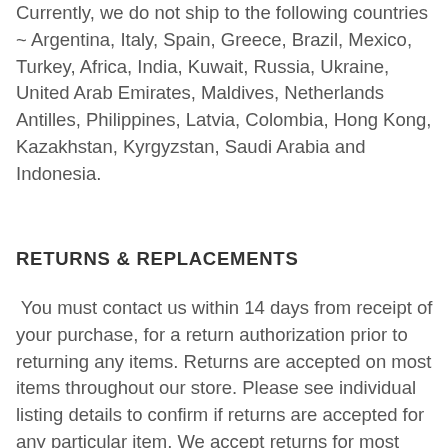Currently, we do not ship to the following countries ~ Argentina, Italy, Spain, Greece, Brazil, Mexico, Turkey, Africa, India, Kuwait, Russia, Ukraine, United Arab Emirates, Maldives, Netherlands Antilles, Philippines, Latvia, Colombia, Hong Kong, Kazakhstan, Kyrgyzstan, Saudi Arabia and Indonesia.
RETURNS & REPLACEMENTS
You must contact us within 14 days from receipt of your purchase, for a return authorization prior to returning any items. Returns are accepted on most items throughout our store. Please see individual listing details to confirm if returns are accepted for any particular item. We accept returns for most